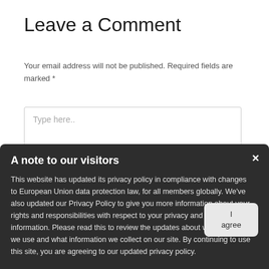Leave a Comment
Your email address will not be published. Required fields are marked *
[Figure (screenshot): Comment text area input box with placeholder text 'Type here..']
A note to our visitors
This website has updated its privacy policy in compliance with changes to European Union data protection law, for all members globally. We've also updated our Privacy Policy to give you more information about your rights and responsibilities with respect to your privacy and personal information. Please read this to review the updates about which cookies we use and what information we collect on our site. By continuing to use this site, you are agreeing to our updated privacy policy.